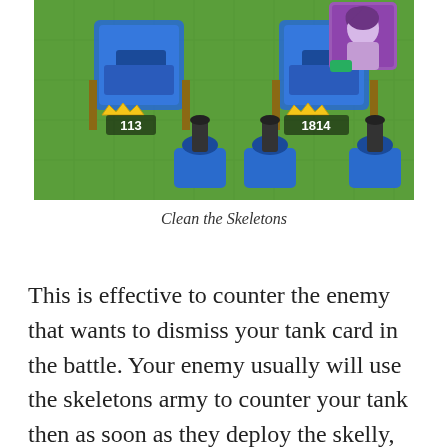[Figure (screenshot): Screenshot from a mobile game (Clash Royale style) showing tanks/cannon units on a green tile battlefield. One unit shows '113' and another shows '1814' score labels. A character portrait appears in the top right corner.]
Clean the Skeletons
This is effective to counter the enemy that wants to dismiss your tank card in the battle. Your enemy usually will use the skeletons army to counter your tank then as soon as they deploy the skelly, you can unleash the arrows to dismiss the skelly and make your tank